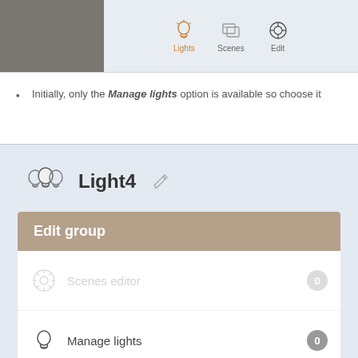[Figure (screenshot): App top navigation bar showing Lights (active/orange), Scenes, and Edit icons on a light gray background, with a dark gray rectangle on the left]
Initially, only the Manage lights option is available so choose it
[Figure (screenshot): Mobile app screen showing Light4 group with three bulb icons and pencil edit icon. Below is an 'Edit group' menu panel with two rows: 'Scenes editor' (dimmed, badge 0) and 'Manage lights' (badge 0), on a light blue-gray background.]